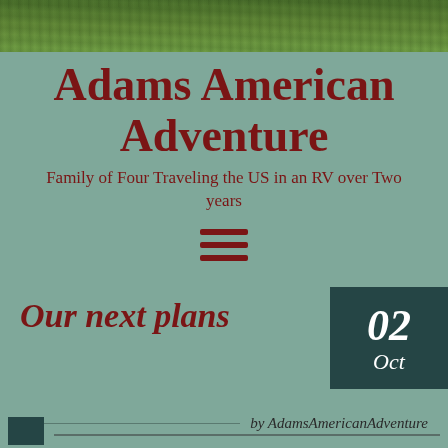[Figure (photo): Green grass landscape photo strip at the top of the page]
Adams American Adventure
Family of Four Traveling the US in an RV over Two years
[Figure (other): Hamburger menu icon (three horizontal lines)]
Our next plans
02 Oct
by AdamsAmericanAdventure